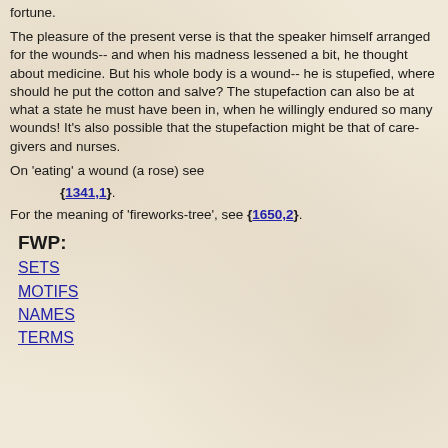fortune.
The pleasure of the present verse is that the speaker himself arranged for the wounds-- and when his madness lessened a bit, he thought about medicine. But his whole body is a wound-- he is stupefied, where should he put the cotton and salve? The stupefaction can also be at what a state he must have been in, when he willingly endured so many wounds! It's also possible that the stupefaction might be that of care-givers and nurses.
On 'eating' a wound (a rose) see
{1341,1}.
For the meaning of 'fireworks-tree', see {1650,2}.
FWP:
SETS
MOTIFS
NAMES
TERMS